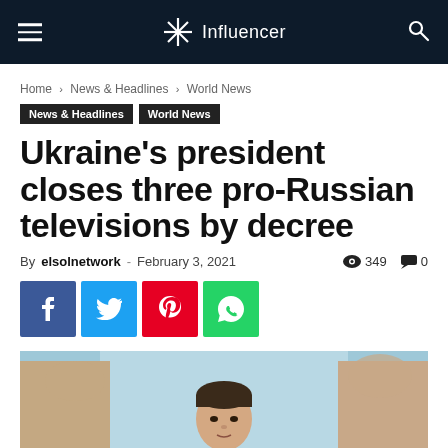Influencer
Home › News & Headlines › World News
News & Headlines   World News
Ukraine's president closes three pro-Russian televisions by decree
By elsolnetwork - February 3, 2021   349   0
[Figure (photo): Portrait photo of Ukraine's president, a man in a suit against a teal/blue background with hands raised in the background]
[Figure (infographic): Social sharing buttons: Facebook (blue), Twitter (light blue), Pinterest (red), WhatsApp (green)]